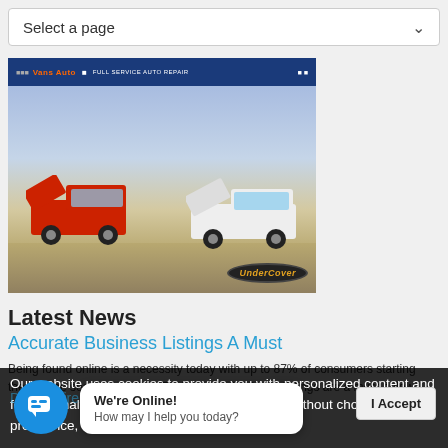Select a page
[Figure (screenshot): Screenshot of an auto repair website with blue header bar reading 'FULL SERVICE AUTO REPAIR' and an image of two pickup trucks (one red, one white) with hoods open in a field, with UnderCover logo in the bottom right.]
Latest News
Accurate Business Listings A Must
Being found online is a necessity today with up to 87% of consumers starting their online searches online. Find out why business listings are a must below.
DIY or Hire a Web Designer? Pros and Cons
Our website uses cookies to provide you with personalized content and for site analysis. If you continue to use the site without choosing your preference, we'll assume that you're fine with
We're Online! How may I help you today?